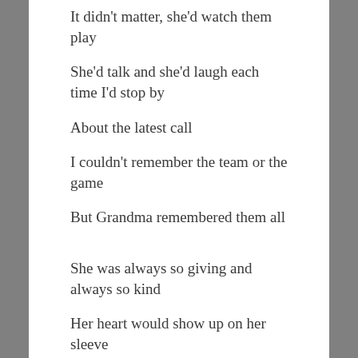It didn’t matter, she’d watch them play
She’d talk and she’d laugh each time I’d stop by
About the latest call
I couldn’t remember the team or the game
But Grandma remembered them all
She was always so giving and always so kind
Her heart would show up on her sleeve
She was patient and caring and through all of this
A great blessing she gave to me